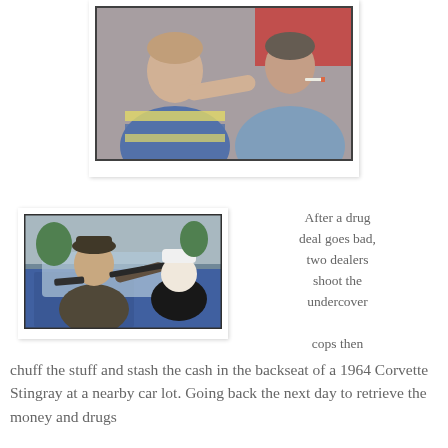[Figure (photo): Two men visible through a car windshield — one in a blue and yellow striped shirt gesturing forward, another in a denim jacket smoking a cigarette.]
[Figure (photo): Scene inside a blue classic car — two figures pointing guns out the window, with a woman in a nun habit in the backseat.]
After a drug deal goes bad, two dealers shoot the undercover cops then chuff the stuff and stash the cash in the backseat of a 1964 Corvette Stingray at a nearby car lot. Going back the next day to retrieve the money and drugs